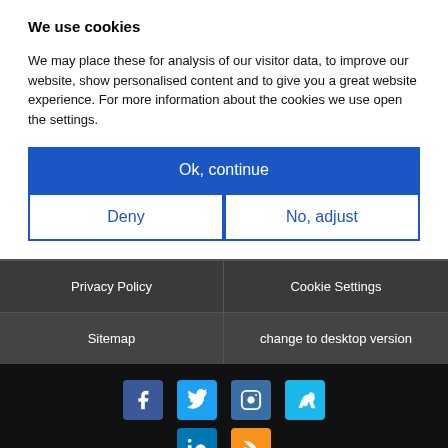We use cookies
We may place these for analysis of our visitor data, to improve our website, show personalised content and to give you a great website experience. For more information about the cookies we use open the settings.
Ok, continue
Deny
No, adjust
| Privacy Policy | Cookie Settings |
| --- | --- |
| Sitemap | change to desktop version |
[Figure (infographic): Social media icons: Facebook, Twitter, Instagram, Vimeo, LinkedIn, RSS]